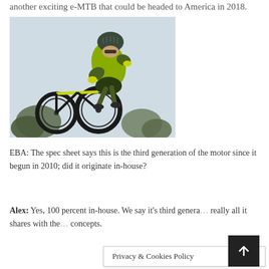another exciting e-MTB that could be headed to America in 2018.
[Figure (photo): A mountain biker in yellow and dark green gear performing an aerial trick/jump with a full-suspension mountain bike against a light sky background with trees visible below.]
EBA: The spec sheet says this is the third generation of the motor since it begun in 2010; did it originate in-house?
Alex: Yes, 100 percent in-house. We say it's third genera[tion] really all it shares with the [previous] concepts.